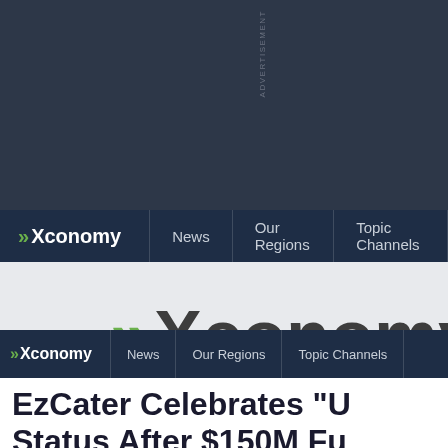[Figure (other): Advertisement banner area with dark navy background]
Xconomy | News | Our Regions | Topic Channels
[Figure (logo): Large Xconomy logo on light gray background]
Xconomy | News | Our Regions | Topic Channels
EzCater Celebrates "U Status After $150M Fu Round